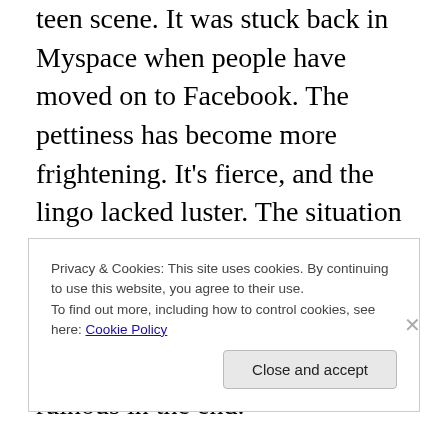teen scene. It was stuck back in Myspace when people have moved on to Facebook. The pettiness has become more frightening. It's fierce, and the lingo lacked luster. The situation seemed vague to encapsulate a teenager's life, and the melodrama of a Lifetime movie shone through. Unfortunate and ruinous in the end.
So watch this if you have no idea what the internet is. Watch this if you like Disney channel. Just don't watch this if you want to be moved and informed on the topic of cyberbullying. Actually, scratch that. Watch it for the humor because of its downfall. It falls hard. 4.1 out of 10
Privacy & Cookies: This site uses cookies. By continuing to use this website, you agree to their use.
To find out more, including how to control cookies, see here: Cookie Policy